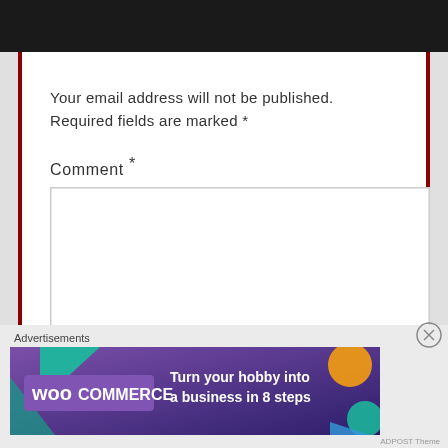Your email address will not be published. Required fields are marked *
Comment *
[Figure (screenshot): Comment text area input field, empty, with resize handle at bottom right]
Advertisements
[Figure (illustration): WooCommerce advertisement banner: 'Turn your hobby into a business in 8 steps' on dark purple background with geometric shapes]